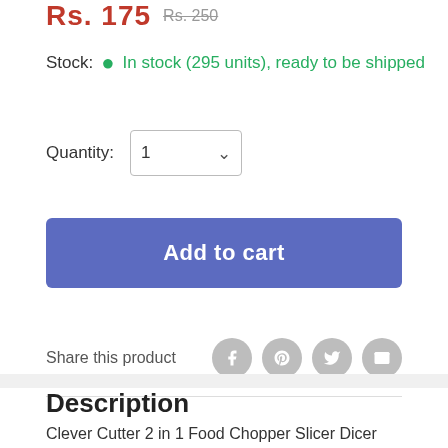Price: Rs. 175  Rs. 250
Stock: • In stock (295 units), ready to be shipped
Quantity: 1
Add to cart
Share this product
Description
Clever Cutter 2 in 1 Food Chopper Slicer Dicer